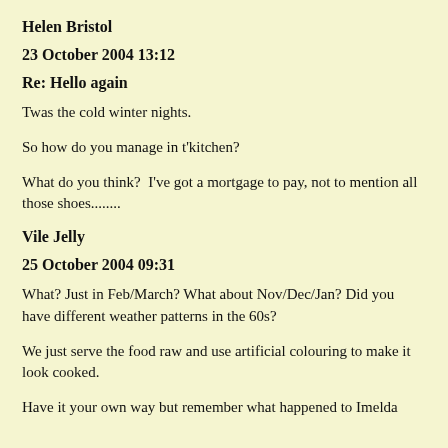Helen Bristol
23 October 2004 13:12
Re: Hello again
Twas the cold winter nights.
So how do you manage in t'kitchen?
What do you think?  I've got a mortgage to pay, not to mention all those shoes........
Vile Jelly
25 October 2004 09:31
What? Just in Feb/March? What about Nov/Dec/Jan? Did you have different weather patterns in the 60s?
We just serve the food raw and use artificial colouring to make it look cooked.
Have it your own way but remember what happened to Imelda